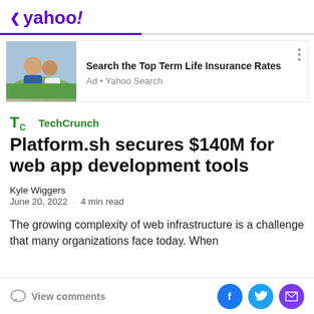< yahoo!
[Figure (screenshot): Advertisement banner: photo of a couple sitting outdoors, with text 'Search the Top Term Life Insurance Rates' and 'Ad • Yahoo Search']
[Figure (logo): TechCrunch logo in green]
Platform.sh secures $140M for web app development tools
Kyle Wiggers
June 20, 2022 · 4 min read
The growing complexity of web infrastructure is a challenge that many organizations face today. When
View comments